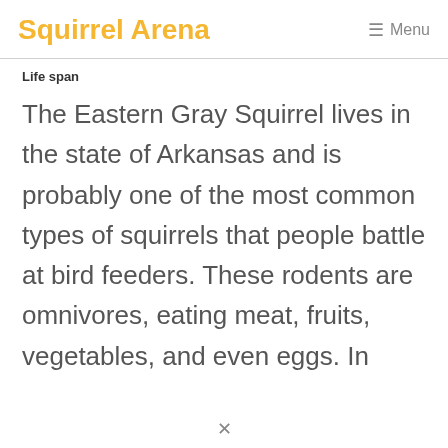Squirrel Arena
Life span
The Eastern Gray Squirrel lives in the state of Arkansas and is probably one of the most common types of squirrels that people battle at bird feeders. These rodents are omnivores, eating meat, fruits, vegetables, and even eggs. In